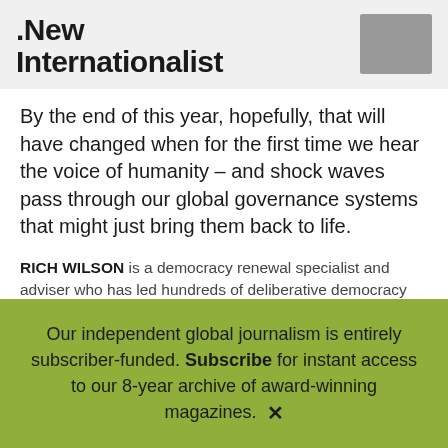New Internationalist
By the end of this year, hopefully, that will have changed when for the first time we hear the voice of humanity – and shock waves pass through our global governance systems that might just bring them back to life.
RICH WILSON is a democracy renewal specialist and adviser who has led hundreds of deliberative democracy processes. CLAIRE MELLIER is a climate researcher and facilitator who was part of the Climate Assembly UK facilitation team.
Our independent global journalism is entirely subscriber-funded. Subscribe for instant access to our 8-year archive of award-winning magazines. ✕